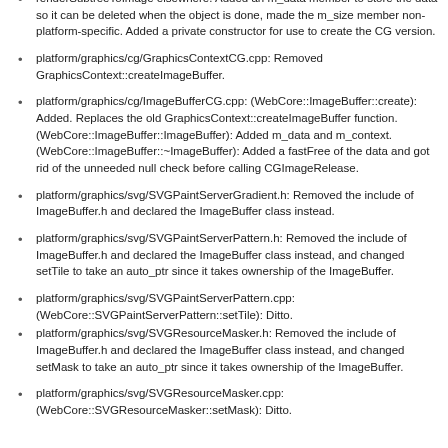renderSubtreeToImage elsewhere. Added an m_data member to store the data so it can be deleted when the object is done, made the m_size member non-platform-specific. Added a private constructor for use to create the CG version.
platform/graphics/cg/GraphicsContextCG.cpp: Removed GraphicsContext::createImageBuffer.
platform/graphics/cg/ImageBufferCG.cpp: (WebCore::ImageBuffer::create): Added. Replaces the old GraphicsContext::createImageBuffer function. (WebCore::ImageBuffer::ImageBuffer): Added m_data and m_context. (WebCore::ImageBuffer::~ImageBuffer): Added a fastFree of the data and got rid of the unneeded null check before calling CGImageRelease.
platform/graphics/svg/SVGPaintServerGradient.h: Removed the include of ImageBuffer.h and declared the ImageBuffer class instead.
platform/graphics/svg/SVGPaintServerPattern.h: Removed the include of ImageBuffer.h and declared the ImageBuffer class instead, and changed setTile to take an auto_ptr since it takes ownership of the ImageBuffer.
platform/graphics/svg/SVGPaintServerPattern.cpp: (WebCore::SVGPaintServerPattern::setTile): Ditto.
platform/graphics/svg/SVGResourceMasker.h: Removed the include of ImageBuffer.h and declared the ImageBuffer class instead, and changed setMask to take an auto_ptr since it takes ownership of the ImageBuffer.
platform/graphics/svg/SVGResourceMasker.cpp: (WebCore::SVGResourceMasker::setMask): Ditto.